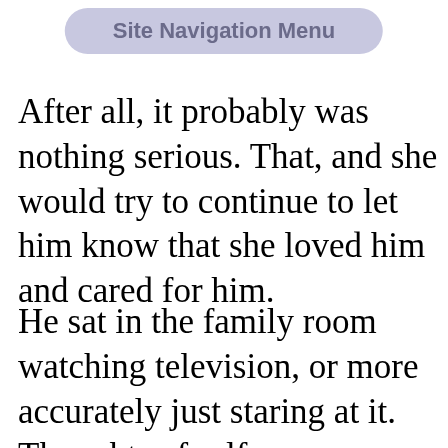[Figure (screenshot): Site Navigation Menu button — a pill-shaped button with lavender/periwinkle background and bold gray text reading 'Site Navigation Menu']
After all, it probably was nothing serious. That, and she would try to continue to let him know that she loved him and cared for him.
He sat in the family room watching television, or more accurately just staring at it. Thoughts of self-recrimination